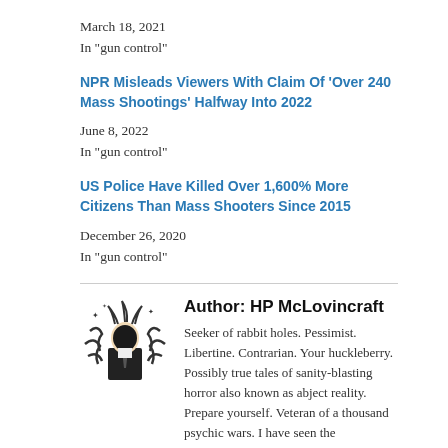March 18, 2021
In "gun control"
NPR Misleads Viewers With Claim Of 'Over 240 Mass Shootings' Halfway Into 2022
June 8, 2022
In "gun control"
US Police Have Killed Over 1,600% More Citizens Than Mass Shooters Since 2015
December 26, 2020
In "gun control"
Author: HP McLovincraft
Seeker of rabbit holes. Pessimist. Libertine. Contrarian. Your huckleberry. Possibly true tales of sanity-blasting horror also known as abject reality. Prepare yourself. Veteran of a thousand psychic wars. I have seen the